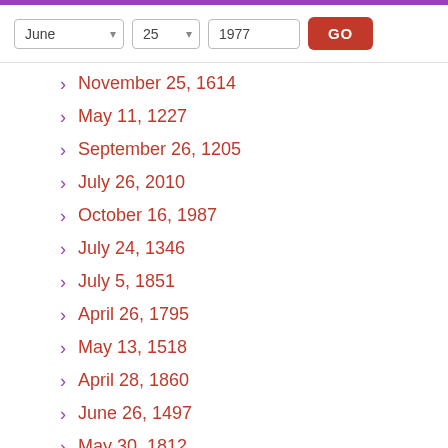Date selector: June 25 1977 GO
November 25, 1614
May 11, 1227
September 26, 1205
July 26, 2010
October 16, 1987
July 24, 1346
July 5, 1851
April 26, 1795
May 13, 1518
April 28, 1860
June 26, 1497
May 30, 1812